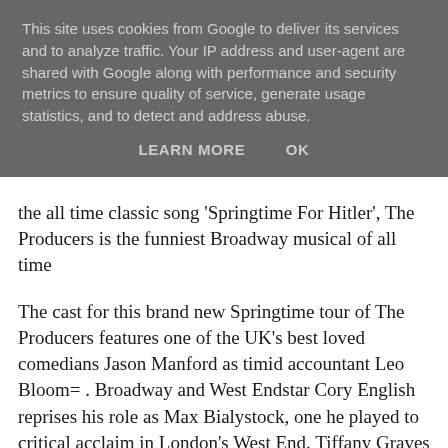This site uses cookies from Google to deliver its services and to analyze traffic. Your IP address and user-agent are shared with Google along with performance and security metrics to ensure quality of service, generate usage statistics, and to detect and address abuse.
LEARN MORE   OK
the all time classic song 'Springtime For Hitler', The Producers is the funniest Broadway musical of all time
The cast for this brand new Springtime tour of The Producers features one of the UK's best loved comedians Jason Manford as timid accountant Leo Bloom= . Broadway and West Endstar Cory English reprises his role as Max Bialystock, one he played to critical acclaim in London's West End. Tiffany Graves joins the company as Ulla the object of Leo Bloom's affections.
Ross Noble and Phill Jupitus share the role of Franz Liebkind; the short fused, carrier pigeon keeping, former